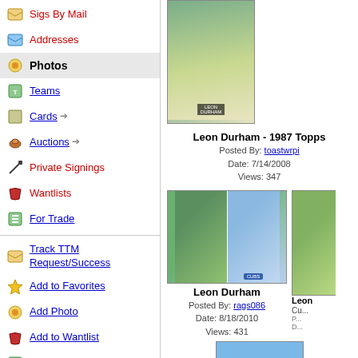Sigs By Mail
Addresses
Photos
Teams
Cards →
Auctions →
Private Signings
Wantlists
For Trade
Track TTM Request/Success
Add to Favorites
Add Photo
Add to Wantlist
Add Trade Item
Add Private Signing
Add Signing Fee or Note
[Figure (photo): Baseball card image - Leon Durham 1987 Topps signed card]
Leon Durham - 1987 Topps
Posted By: toastwrpi
Date: 7/14/2008
Views: 347
[Figure (photo): Two baseball cards side by side showing Leon Durham with Cubs]
Leon Durham
Posted By: rags086
Date: 8/18/2010
Views: 431
[Figure (photo): Baseball card showing Leon Durham Cubs signed card]